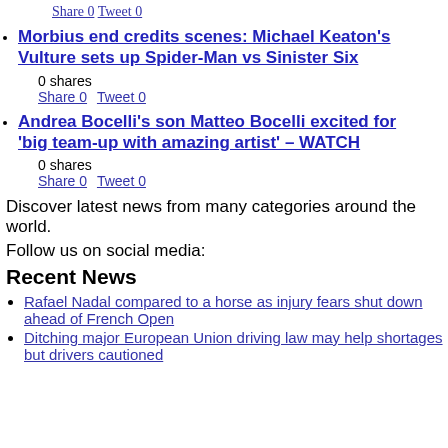Share 0 Tweet 0
Morbius end credits scenes: Michael Keaton’s Vulture sets up Spider-Man vs Sinister Six
0 shares
Share 0 Tweet 0
Andrea Bocelli’s son Matteo Bocelli excited for ‘big team-up with amazing artist’ – WATCH
0 shares
Share 0 Tweet 0
Discover latest news from many categories around the world.
Follow us on social media:
Recent News
Rafael Nadal compared to a horse as injury fears shut down ahead of French Open
Ditching major European Union driving law may help shortages but drivers cautioned